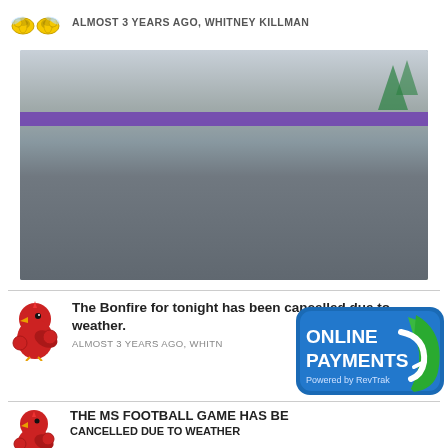ALMOST 3 YEARS AGO, WHITNEY KILLMAN
[Figure (photo): Group photo of young children (preschool/kindergarten age) sitting and standing on a colorful circular classroom rug with letters and numbers. Children are holding props near their faces. The classroom has a purple accent wall and educational decorations.]
The Bonfire for tonight has been cancelled due to weather.
ALMOST 3 YEARS AGO, WHITNEY KILLMAN
[Figure (logo): Online Payments badge - blue rounded rectangle with ONLINE PAYMENTS text in white, Powered by RevTrak, with green checkmark/swoosh logo]
THE MS FOOTBALL GAME HAS BE